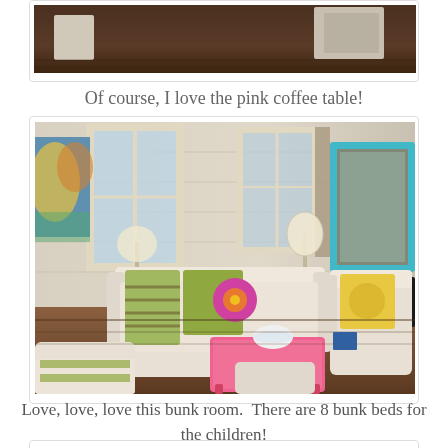[Figure (photo): Partial view of a bedroom with dark wood floor, white furniture visible at top of frame]
Of course, I love the pink coffee table!
[Figure (photo): Bright living room with white slipcovered sofas, green striped and floral pillows, a pink coffee table in the center, colorful artwork on white wood-paneled walls, turquoise-framed mirror, and a TV in the background]
Love, love, love this bunk room.  There are 8 bunk beds for the children!
[Figure (photo): Partial view of a bunk room with dark wood floors, cut off at bottom of page]